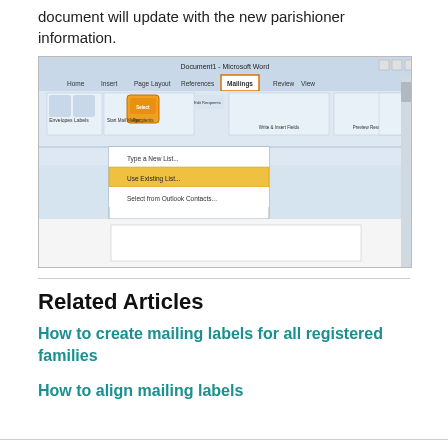document will update with the new parishioner information.
[Figure (screenshot): Microsoft Word 2007/2010 screenshot showing the Mailings tab with the 'Select Recipients' dropdown menu open, highlighting 'Use Existing List...' option with an orange/yellow highlight box.]
Related Articles
How to create mailing labels for all registered families
How to align mailing labels